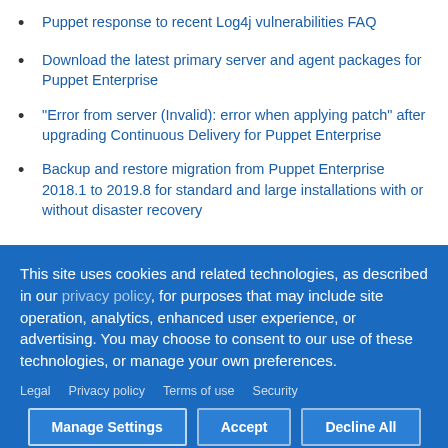Puppet response to recent Log4j vulnerabilities FAQ
Download the latest primary server and agent packages for Puppet Enterprise
"Error from server (Invalid): error when applying patch" after upgrading Continuous Delivery for Puppet Enterprise
Backup and restore migration from Puppet Enterprise 2018.1 to 2019.8 for standard and large installations with or without disaster recovery
This site uses cookies and related technologies, as described in our privacy policy, for purposes that may include site operation, analytics, enhanced user experience, or advertising. You may choose to consent to our use of these technologies, or manage your own preferences.
Legal  Privacy policy  Terms of use  Security
Manage Settings  Accept  Decline All